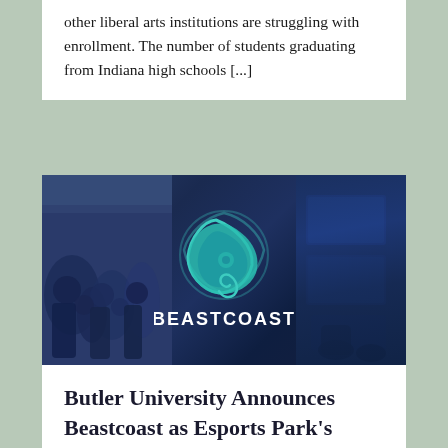other liberal arts institutions are struggling with enrollment. The number of students graduating from Indiana high schools [...]
[Figure (photo): Beastcoast esports brand image: triptych of esports event crowd on the left, Beastcoast teal phoenix logo in the center on dark blue background, gaming setup with monitors on the right]
Butler University Announces Beastcoast as Esports Park's Newest Tenant